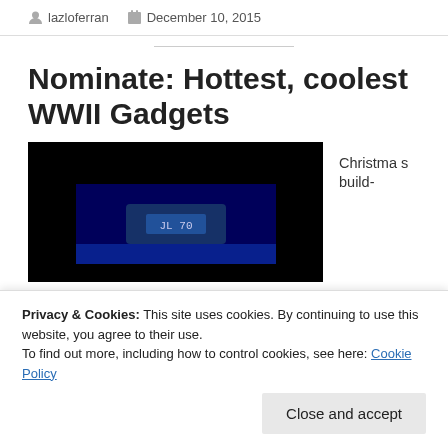lazloferran   December 10, 2015
Nominate: Hottest, coolest WWII Gadgets
[Figure (photo): Dark/black image with a blue-lit object, appears to be a WWII gadget or device against a dark background]
Christmas build-
Privacy & Cookies: This site uses cookies. By continuing to use this website, you agree to their use.
To find out more, including how to control cookies, see here: Cookie Policy
Close and accept